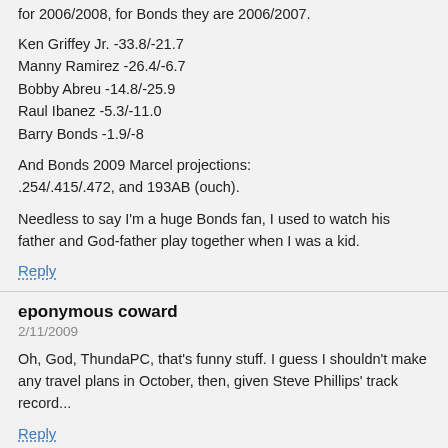for 2006/2008, for Bonds they are 2006/2007.
Ken Griffey Jr. -33.8/-21.7
Manny Ramirez -26.4/-6.7
Bobby Abreu -14.8/-25.9
Raul Ibanez -5.3/-11.0
Barry Bonds -1.9/-8
And Bonds 2009 Marcel projections: .254/.415/.472, and 193AB (ouch).
Needless to say I'm a huge Bonds fan, I used to watch his father and God-father play together when I was a kid.
Reply
eponymous coward
2/11/2009
Oh, God, ThundaPC, that's funny stuff. I guess I shouldn't make any travel plans in October, then, given Steve Phillips' track record...
Reply